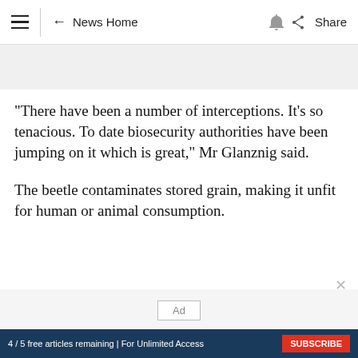≡ ← News Home 🔔 Share
"There have been a number of interceptions. It's so tenacious. To date biosecurity authorities have been jumping on it which is great," Mr Glanznig said.
The beetle contaminates stored grain, making it unfit for human or animal consumption.
4 / 5 free articles remaining | For Unlimited Access  SUBSCRIBE